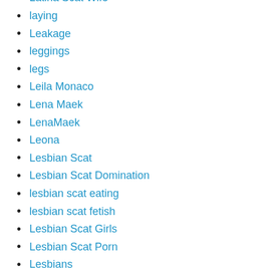Latina Scat Wife
laying
Leakage
leggings
legs
Leila Monaco
Lena Maek
LenaMaek
Leona
Lesbian Scat
Lesbian Scat Domination
lesbian scat eating
lesbian scat fetish
Lesbian Scat Girls
Lesbian Scat Porn
Lesbians
Leticia Miller